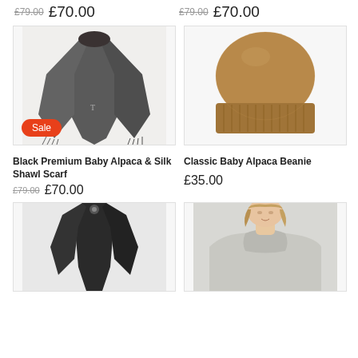£79.00  £70.00  |  £79.00  £70.00
[Figure (photo): Dark grey alpaca silk shawl scarf draped, with a red Sale badge]
[Figure (photo): Tan/camel classic baby alpaca ribbed beanie hat on white background]
Black Premium Baby Alpaca & Silk Shawl Scarf
£79.00  £70.00
Classic Baby Alpaca Beanie
£35.00
[Figure (photo): Black alpaca scarf/shawl folded, partial view]
[Figure (photo): Woman wearing a light grey turtleneck alpaca sweater, partial face visible]